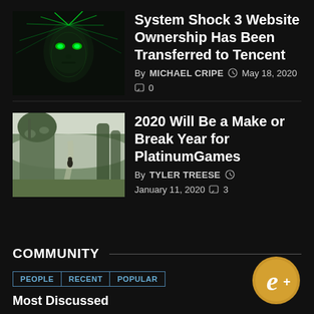[Figure (photo): Glowing green cyberpunk face with circuit-like tendrils — System Shock artwork]
System Shock 3 Website Ownership Has Been Transferred to Tencent
By MICHAEL CRIPE  May 18, 2020  0
[Figure (photo): Fantasy forest scene with large mossy creature and small figure on a path]
2020 Will Be a Make or Break Year for PlatinumGames
By TYLER TREESE  January 11, 2020  3
COMMUNITY
PEOPLE  RECENT  POPULAR
Most Discussed